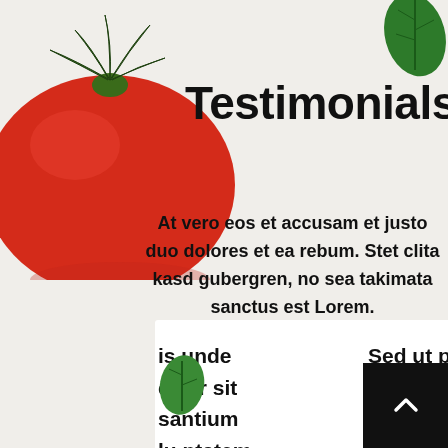[Figure (photo): Red tomato with green stem, top-left corner]
[Figure (photo): Green basil leaf, top-right corner]
Testimonials
At vero eos et accusam et justo duo dolores et ea rebum. Stet clita kasd gubergren, no sea takimata sanctus est Lorem.
[Figure (photo): Piece of mozzarella cheese, center-right]
[Figure (photo): Green basil leaf, bottom-left area]
is unde error sit santium lu ptatem rspiciatis
Sed ut perspiciat omnis iste natus voluptatem accu natus error sit vo omnis. Sed ut pe